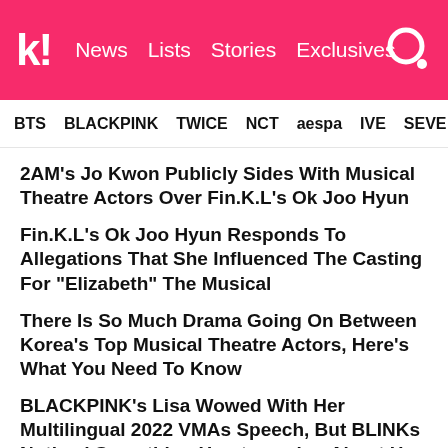k! News Lists Stories Exclusives
BTS BLACKPINK TWICE NCT aespa IVE SEVE
2AM's Jo Kwon Publicly Sides With Musical Theatre Actors Over Fin.K.L's Ok Joo Hyun
Fin.K.L's Ok Joo Hyun Responds To Allegations That She Influenced The Casting For "Elizabeth" The Musical
There Is So Much Drama Going On Between Korea's Top Musical Theatre Actors, Here's What You Need To Know
BLACKPINK's Lisa Wowed With Her Multilingual 2022 VMAs Speech, But BLINKs Noticed Something Heartwarming About Her Words
NCT Taeyong's Treatment Of The SM Rookies Has Fans Convinced That They Will Debut In Upcoming Unit NCT Tokyo